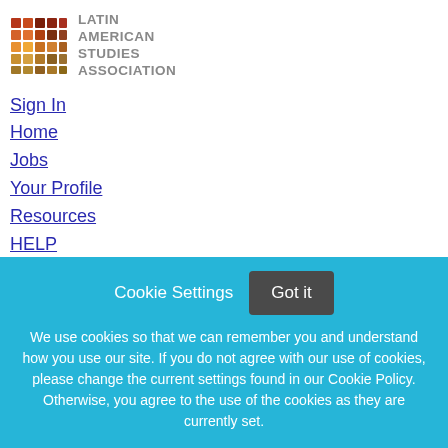[Figure (logo): Latin American Studies Association logo with colorful grid mosaic and text]
Sign In
Home
Jobs
Your Profile
Resources
HELP
Employers Post Jobs
Search | Browse | Explore | Your Job Alerts
Cookie Settings   Got it
We use cookies so that we can remember you and understand how you use our site. If you do not agree with our use of cookies, please change the current settings found in our Cookie Policy. Otherwise, you agree to the use of the cookies as they are currently set.